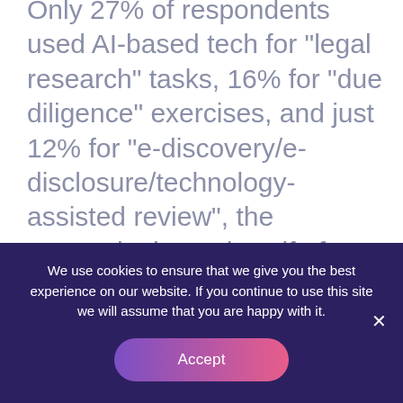Only 27% of respondents used AI-based tech for “legal research” tasks, 16% for “due diligence” exercises, and just 12% for “e-discovery/e-disclosure/technology-assisted review”, the research showed. Half of those surveyed said they received some law tech training within the past three years, with the most common type of support relating to specific software packages (38%). A further 12% received what was described as “generic law tech training”, in matters
We use cookies to ensure that we give you the best experience on our website. If you continue to use this site we will assume that you are happy with it.